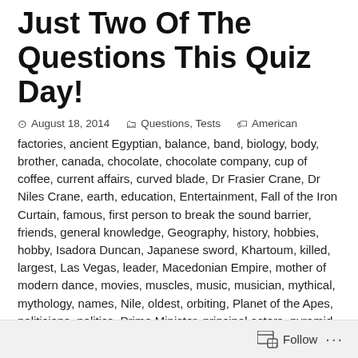Just Two Of The Questions This Quiz Day!
⊙ August 18, 2014   🗂 Questions, Tests   🏷 American factories, ancient Egyptian, balance, band, biology, body, brother, canada, chocolate, chocolate company, cup of coffee, current affairs, curved blade, Dr Frasier Crane, Dr Niles Crane, earth, education, Entertainment, Fall of the Iron Curtain, famous, first person to break the sound barrier, friends, general knowledge, Geography, history, hobbies, hobby, Isadora Duncan, Japanese sword, Khartoum, killed, largest, Las Vegas, leader, Macedonian Empire, mother of modern dance, movies, muscles, music, musician, mythical, mythology, names, Nile, oldest, orbiting, Planet of the Apes, politicians, politics, Prime Minister, principal actors, pyramid shaped casino, questions, quiz, Quiz Day, quizzes, Random, recreation, recreational diving limit, rivers, Roman god of war, space,
Follow ...